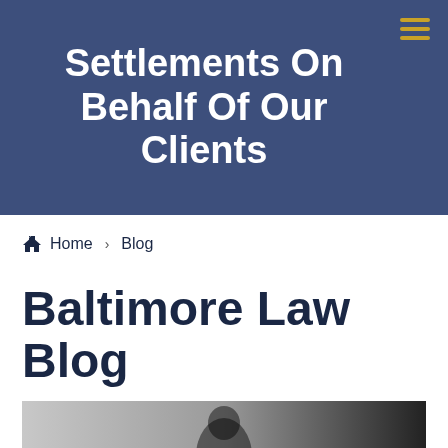Settlements On Behalf Of Our Clients
Home > Blog
Baltimore Law Blog
[Figure (photo): Black and white photo showing a person holding a sign with partial text 'I... NOT']